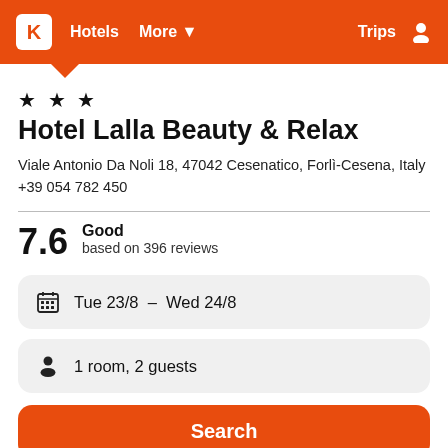K  Hotels  More  Trips
★ ★ ★
Hotel Lalla Beauty & Relax
Viale Antonio Da Noli 18, 47042 Cesenatico, Forlì-Cesena, Italy
+39 054 782 450
7.6   Good
based on 396 reviews
Tue 23/8  -  Wed 24/8
1 room, 2 guests
Search